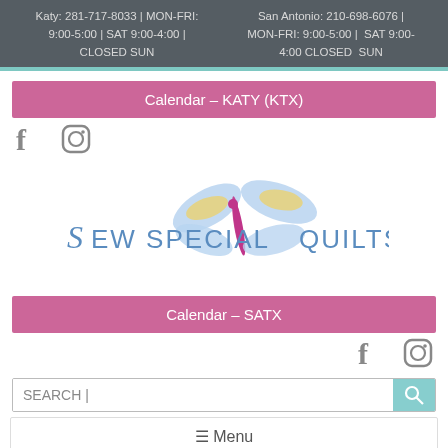Katy: 281-717-8033 | MON-FRI: 9:00-5:00 | SAT 9:00-4:00 | CLOSED SUN   San Antonio: 210-698-6076 | MON-FRI: 9:00-5:00 | SAT 9:00-4:00 CLOSED SUN
Calendar – KATY (KTX)
[Figure (logo): Facebook and Instagram social media icons]
[Figure (logo): Sew Special Quilts logo with dragonfly illustration]
Calendar – SATX
[Figure (logo): Facebook and Instagram social media icons]
SEARCH |
≡ Menu